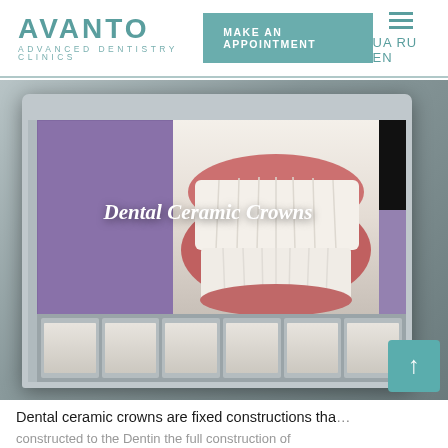AVANTO ADVANCED DENTISTRY CLINICS | MAKE AN APPOINTMENT | UA RU EN
[Figure (screenshot): Dental CAD software screenshot showing Dental Ceramic Crowns with a close-up of teeth displayed on a monitor, with thumbnail images at the bottom]
Dental Ceramic Crowns
Dental ceramic crowns are fixed constructions that are constructed to the Dentin the full construction of...